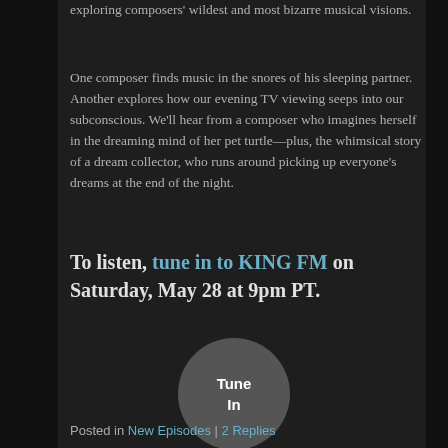exploring composers' wildest and most bizarre musical visions.
One composer finds music in the snores of his sleeping partner. Another explores how our evening TV viewing seeps into our subconscious. We'll hear from a composer who imagines herself in the dreaming mind of her pet turtle—plus, the whimsical story of a dream collector, who runs around picking up everyone's dreams at the end of the night.
To listen, tune in to KING FM on Saturday, May 28 at 9pm PT.
[Figure (other): Circular button with text 'Tune In' in white bold font on a dark gray circular background]
Posted in New Episodes | 2 Replies